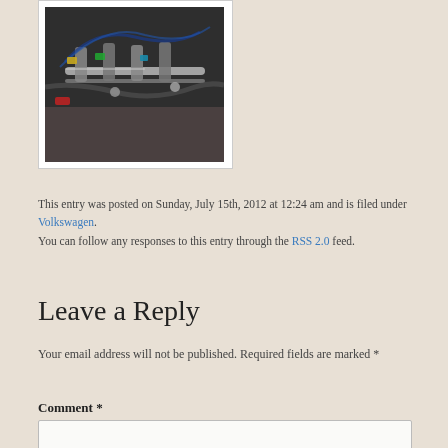[Figure (photo): Photograph of automotive engine parts/fuel injectors on a workbench]
This entry was posted on Sunday, July 15th, 2012 at 12:24 am and is filed under Volkswagen. You can follow any responses to this entry through the RSS 2.0 feed.
Leave a Reply
Your email address will not be published. Required fields are marked *
Comment *